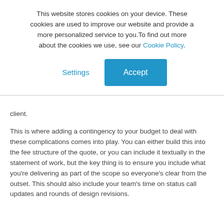This website stores cookies on your device. These cookies are used to improve our website and provide a more personalized service to you. To find out more about the cookies we use, see our Cookie Policy.
Settings | Accept
client.
This is where adding a contingency to your budget to deal with these complications comes into play. You can either build this into the fee structure of the quote, or you can include it textually in the statement of work, but the key thing is to ensure you include what you're delivering as part of the scope so everyone's clear from the outset. This should also include your team's time on status call updates and rounds of design revisions.